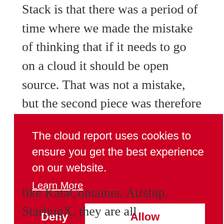Stack is that there was a period of time where we made the mistake of thinking that if it needs to go on a cloud it should be open source. That was not a mistake, but the second piece was therefore should be OpenStack. That was the mistake. What we realized was we want everything you need to build a modern cloud to be open source, but it doesn't mean it all needs to go in the OpenStack and that was kind of a rev-elation two or three years ago. Like: wait a
[Figure (screenshot): Cookie consent banner overlay with red background. Text reads: 'The cloud report uses cookies to ensure you get the best experience on our website.' with a 'Learn More' underlined link. Two buttons: 'Deny' (white text) and 'Allow' (red text on white background).]
like KataContainer, Airship, StarlingX, they are all